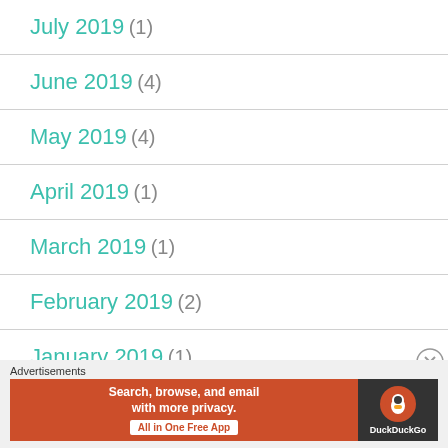July 2019 (1)
June 2019 (4)
May 2019 (4)
April 2019 (1)
March 2019 (1)
February 2019 (2)
January 2019 (1)
[Figure (other): DuckDuckGo advertisement banner: 'Search, browse, and email with more privacy. All in One Free App' with DuckDuckGo logo on dark background]